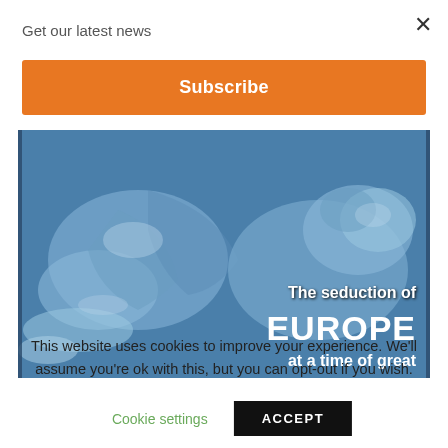Get our latest news
Subscribe
[Figure (illustration): Blue-toned classical painting showing a figure reclining with an animal (bull/lion), overlaid with text: 'The seduction of EUROPE at a time of great']
This website uses cookies to improve your experience. We'll assume you're ok with this, but you can opt-out if you wish.
Cookie settings
ACCEPT